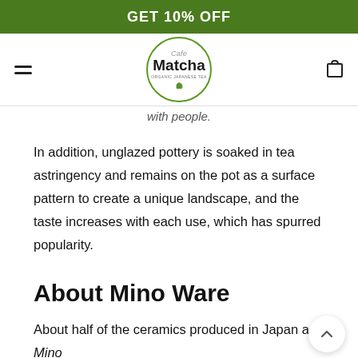GET 10% OFF
[Figure (logo): Cafe Matcha - Organic Japanese Tea logo in a green circle with leaf icons]
with people.
In addition, unglazed pottery is soaked in tea astringency and remains on the pot as a surface pattern to create a unique landscape, and the taste increases with each use, which has spurred popularity.
About Mino Ware
About half of the ceramics produced in Japan are Mino